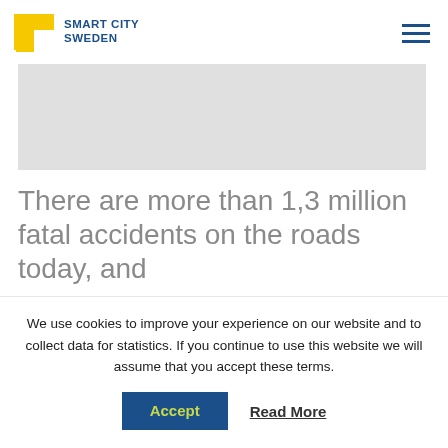[Figure (logo): Smart City Sweden logo with yellow flag icon and blue text]
[Figure (photo): Gray placeholder hero image banner]
There are more than 1,3 million fatal accidents on the roads today, and
We use cookies to improve your experience on our website and to collect data for statistics. If you continue to use this website we will assume that you accept these terms.